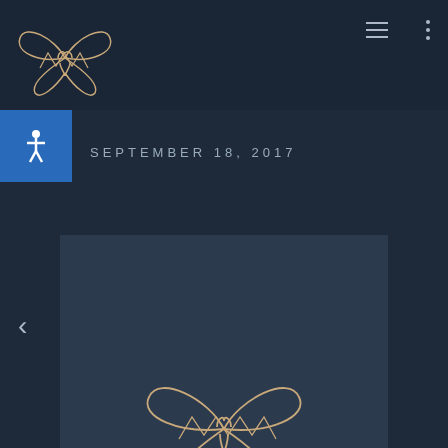[Figure (logo): Marryposa Royal Events top-left logo mark in gold/tan on dark navy background]
SEPTEMBER 18, 2017
[Figure (logo): Marryposa Royal Events central logo card with butterfly M symbol and brand name on dark slate card]
MARRYPOSA
ROYAL EVENTS